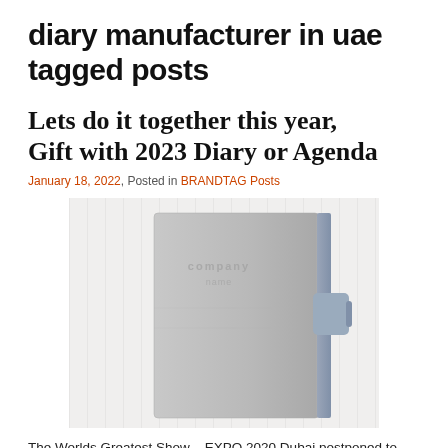diary manufacturer in uae tagged posts
Lets do it together this year, Gift with 2023 Diary or Agenda
January 18, 2022, Posted in BRANDTAG Posts
[Figure (photo): A gray leather diary/agenda with a strap closure and embossed logo on a light background]
The Worlds Greatest Show – EXPO 2020 Dubai postponed to this year 2021, we survived and fought to the pandemic and we kick starting 2021 with a bang, start your planning for